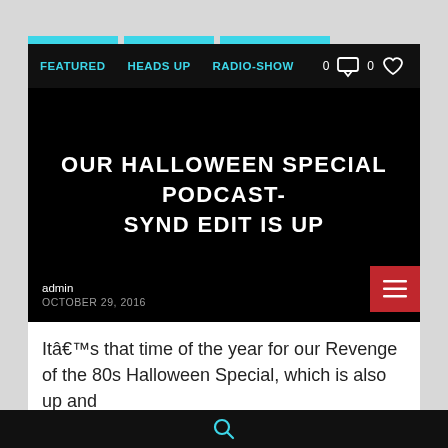FEATURED   HEADS UP   RADIO-SHOW   0   0
OUR HALLOWEEN SPECIAL PODCAST- SYND EDIT IS UP
admin
OCTOBER 29, 2016
Itâ€™s that time of the year for our Revenge of the 80s Halloween Special, which is also up and